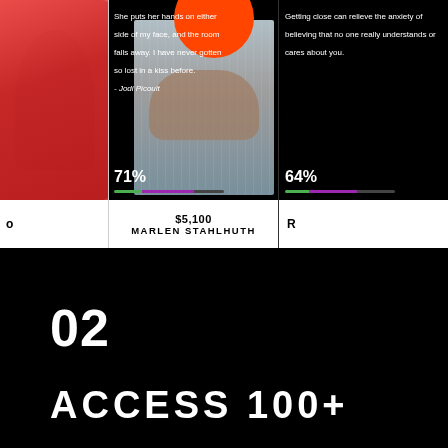[Figure (photo): Three cards layout: left card shows person in red outfit, center card shows jeans/hands photo with orange circle and quote overlay showing 71% progress bar, right card shows text quote with 64% progress bar. Bottom section is black with large text.]
She puts her hands on either side of my face, and the room falls away. I have never gotten so lost in a kiss before. - Jodi Picoult
71%
$5,100
MARLEN STAHLHUTH
Getting close can relieve the anxiety of believing that no one really understands or cares about you.
64%
02
ACCESS 100+